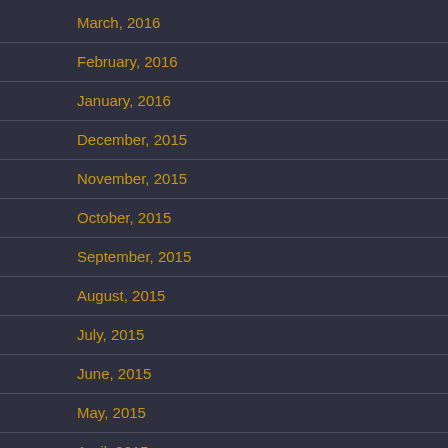March, 2016
February, 2016
January, 2016
December, 2015
November, 2015
October, 2015
September, 2015
August, 2015
July, 2015
June, 2015
May, 2015
April, 2015
March, 2015